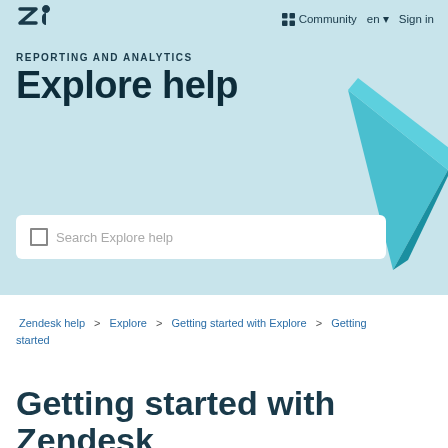[Figure (screenshot): Zendesk logo in top left navigation bar]
Community  en ▾  Sign in
REPORTING AND ANALYTICS
Explore help
[Figure (illustration): 3D teal/cyan geometric triangular prism shape in upper right of hero section]
Search Explore help
Zendesk help > Explore > Getting started with Explore > Getting started
Getting started with Zendesk